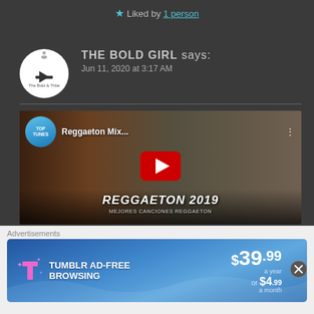★ Liked by 1 person
THE BOLD GIRL says:
Jun 11, 2020 at 3:17 AM
[Figure (screenshot): YouTube video thumbnail for Reggaeton Mix 2019 by Top Tunes, showing a play button and title 'REGGAETON 2019 / MEJORES CANCIONES REGGAETON']
Check these. This is a list of songs. Not sure if I've heard
Advertisements
[Figure (screenshot): Tumblr Ad-Free Browsing advertisement banner: $39.99 a year or $4.99 a month]